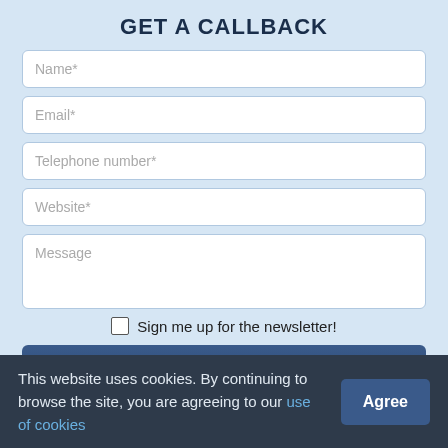GET A CALLBACK
[Figure (screenshot): Web contact form with fields: Name*, Email*, Telephone number*, Website*, Message, a newsletter checkbox, and a Submit button on a light blue background.]
This website uses cookies. By continuing to browse the site, you are agreeing to our use of cookies   Agree